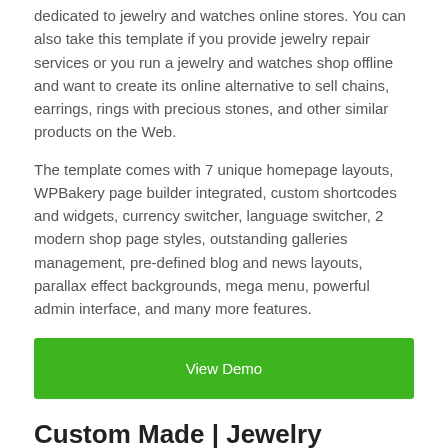dedicated to jewelry and watches online stores. You can also take this template if you provide jewelry repair services or you run a jewelry and watches shop offline and want to create its online alternative to sell chains, earrings, rings with precious stones, and other similar products on the Web.
The template comes with 7 unique homepage layouts, WPBakery page builder integrated, custom shortcodes and widgets, currency switcher, language switcher, 2 modern shop page styles, outstanding galleries management, pre-defined blog and news layouts, parallax effect backgrounds, mega menu, powerful admin interface, and many more features.
[Figure (other): Green button labeled 'View Demo']
Custom Made | Jewelry Manufacturer